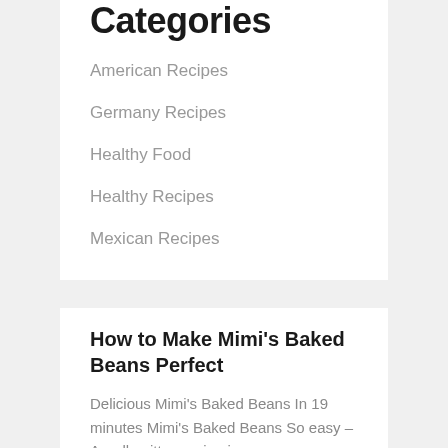Categories
American Recipes
Germany Recipes
Healthy Food
Healthy Recipes
Mexican Recipes
How to Make Mimi's Baked Beans Perfect
Delicious Mimi's Baked Beans In 19 minutes Mimi's Baked Beans So easy – A well-written recipe is